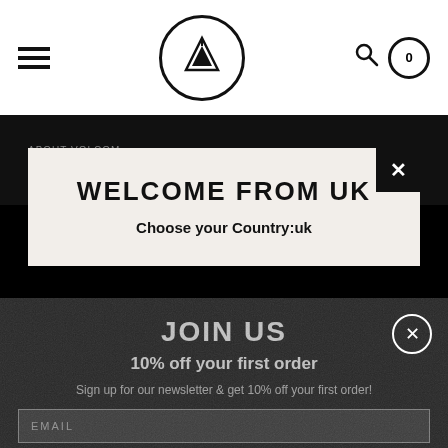[Figure (screenshot): Volcom website navigation bar with hamburger menu, circular Volcom stone logo, search icon, and cart icon (0)]
ABOUT VOLCOM
WELCOME FROM UK
Choose your Country:uk
JOIN US
10% off your first order
Sign up for our newsletter & get 10% off your first order!
EMAIL
FIRST NAME
SUBSCRIBE
By entering your email, you agree to receive periodic emails from Volcom and can unsubscribe any time.